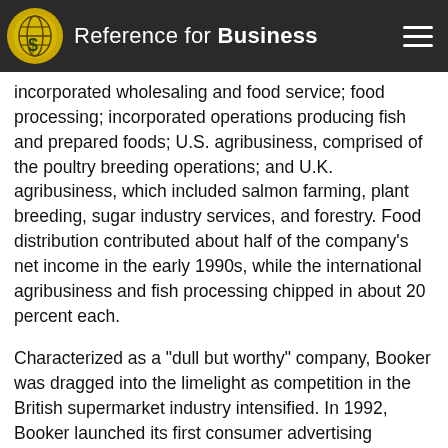Reference for Business
incorporated wholesaling and food service; food processing; incorporated operations producing fish and prepared foods; U.S. agribusiness, comprised of the poultry breeding operations; and U.K. agribusiness, which included salmon farming, plant breeding, sugar industry services, and forestry. Food distribution contributed about half of the company's net income in the early 1990s, while the international agribusiness and fish processing chipped in about 20 percent each.
Characterized as a "dull but worthy" company, Booker was dragged into the limelight as competition in the British supermarket industry intensified. In 1992, Booker launched its first consumer advertising campaign in support of the "Family Choice" branded products it distributed to thousands of independent grocers. These Booker clients were experiencing increased price competition from deep discounters that had entered the market to take advantage of recession-weary Brits.
Booker's sales increased steadily in the early 1990s, from